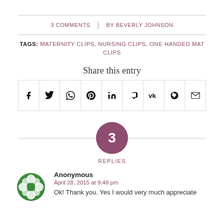3 COMMENTS | BY BEVERLY JOHNSON
TAGS: MATERNITY CLIPS, NURSING CLIPS, ONE HANDED MAT CLIPS
Share this entry
[Figure (other): Row of social share icon buttons: Facebook, Twitter, WhatsApp, Pinterest, LinkedIn, Tumblr, VK, Reddit, Email]
[Figure (other): Purple circle with number 3 and REPLIES label below]
Anonymous
April 28, 2015 at 9:48 pm
Ok! Thank you. Yes I would very much appreciate